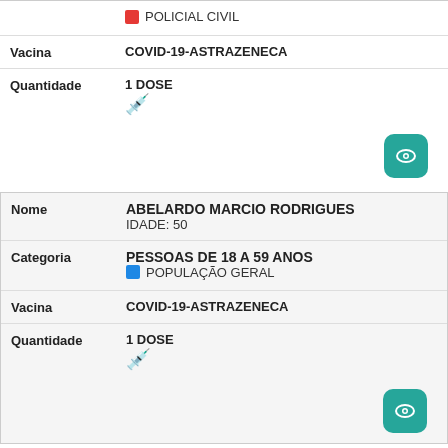| Campo | Valor |
| --- | --- |
| (top, partial) | 🟥 POLICIAL CIVIL |
| Vacina | COVID-19-ASTRAZENECA |
| Quantidade | 1 DOSE
🔴(syringe) |
| (eye button) |  |
| Nome | ABELARDO MARCIO RODRIGUES
IDADE: 50 |
| Categoria | PESSOAS DE 18 A 59 ANOS
🟦 POPULAÇÃO GERAL |
| Vacina | COVID-19-ASTRAZENECA |
| Quantidade | 1 DOSE
🔵(syringe) |
| (eye button) |  |
| Nome | ABELARDO MARTINS ARAUJO
IDADE: 75 |
| Categoria | 2 - IDOSOS COM 75 ANOS OU MAIS
🟦 PESSOAS DE 75 A 79 ANOS |